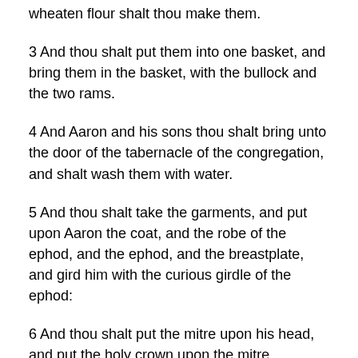wheaten flour shalt thou make them.
3 And thou shalt put them into one basket, and bring them in the basket, with the bullock and the two rams.
4 And Aaron and his sons thou shalt bring unto the door of the tabernacle of the congregation, and shalt wash them with water.
5 And thou shalt take the garments, and put upon Aaron the coat, and the robe of the ephod, and the ephod, and the breastplate, and gird him with the curious girdle of the ephod:
6 And thou shalt put the mitre upon his head, and put the holy crown upon the mitre.
7 Then shalt thou take the anointing oil, and pour it upon his head, and anoint him.